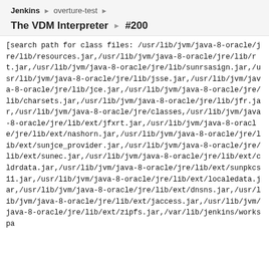Jenkins › overture-test ›
The VDM Interpreter › #200
[search path for class files: /usr/lib/jvm/java-8-oracle/jre/lib/resources.jar,/usr/lib/jvm/java-8-oracle/jre/lib/rt.jar,/usr/lib/jvm/java-8-oracle/jre/lib/sunrsasign.jar,/usr/lib/jvm/java-8-oracle/jre/lib/jsse.jar,/usr/lib/jvm/java-8-oracle/jre/lib/jce.jar,/usr/lib/jvm/java-8-oracle/jre/lib/charsets.jar,/usr/lib/jvm/java-8-oracle/jre/lib/jfr.jar,/usr/lib/jvm/java-8-oracle/jre/classes,/usr/lib/jvm/java-8-oracle/jre/lib/ext/jfxrt.jar,/usr/lib/jvm/java-8-oracle/jre/lib/ext/nashorn.jar,/usr/lib/jvm/java-8-oracle/jre/lib/ext/sunjce_provider.jar,/usr/lib/jvm/java-8-oracle/jre/lib/ext/sunec.jar,/usr/lib/jvm/java-8-oracle/jre/lib/ext/cldrdata.jar,/usr/lib/jvm/java-8-oracle/jre/lib/ext/sunpkcs11.jar,/usr/lib/jvm/java-8-oracle/jre/lib/ext/localedata.jar,/usr/lib/jvm/java-8-oracle/jre/lib/ext/dnsns.jar,/usr/lib/jvm/java-8-oracle/jre/lib/ext/jaccess.jar,/usr/lib/jvm/java-8-oracle/jre/lib/ext/zipfs.jar,/var/lib/jenkins/workspa